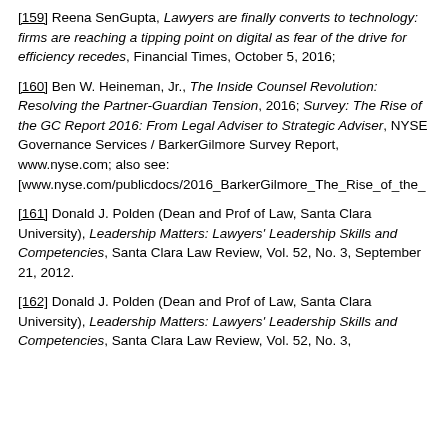[159] Reena SenGupta, Lawyers are finally converts to technology: firms are reaching a tipping point on digital as fear of the drive for efficiency recedes, Financial Times, October 5, 2016;
[160] Ben W. Heineman, Jr., The Inside Counsel Revolution: Resolving the Partner-Guardian Tension, 2016; Survey: The Rise of the GC Report 2016: From Legal Adviser to Strategic Adviser, NYSE Governance Services / BarkerGilmore Survey Report, www.nyse.com; also see: [www.nyse.com/publicdocs/2016_BarkerGilmore_The_Rise_of_the_
[161] Donald J. Polden (Dean and Prof of Law, Santa Clara University), Leadership Matters: Lawyers' Leadership Skills and Competencies, Santa Clara Law Review, Vol. 52, No. 3, September 21, 2012.
[162] Donald J. Polden (Dean and Prof of Law, Santa Clara University), Leadership Matters: Lawyers' Leadership Skills and Competencies, Santa Clara Law Review, Vol. 52, No. 3,